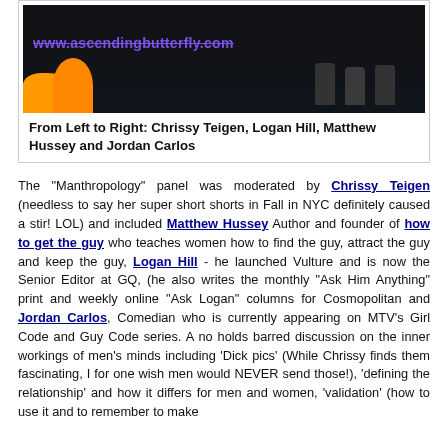[Figure (photo): Stage photo with www.ascendingbutterfly.com watermark overlaid, showing performers on a dark stage]
From Left to Right: Chrissy Teigen, Logan Hill, Matthew Hussey and Jordan Carlos
The "Manthropology" panel was moderated by Chrissy Teigen (needless to say her super short shorts in Fall in NYC definitely caused a stir! LOL) and included Matthew Hussey Author and founder of how to get the guy who teaches women how to find the guy, attract the guy and keep the guy, Logan Hill - he launched Vulture and is now the Senior Editor at GQ, (he also writes the monthly "Ask Him Anything" print and weekly online "Ask Logan" columns for Cosmopolitan and Jordan Carlos, Comedian who is currently appearing on MTV's Girl Code and Guy Code series. A no holds barred discussion on the inner workings of men's minds including 'Dick pics' (While Chrissy finds them fascinating, I for one wish men would NEVER send those!), 'defining the relationship' and how it differs for men and women, 'validation' (how to use it and to remember to make